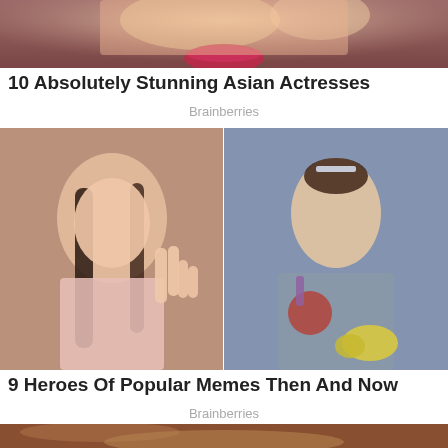[Figure (photo): Cropped close-up photo of a woman's face with red lips and blurred background, partially visible at top of page]
10 Absolutely Stunning Asian Actresses
Brainberries
[Figure (photo): Two side-by-side photos: left shows a young woman with braids making a peace sign wearing a pink lace top; right shows a female gymnast wearing a silver medal and US team jacket with yellow flowers]
9 Heroes Of Popular Memes Then And Now
Brainberries
[Figure (photo): Partially visible photo at bottom showing a person with blonde hair in a warm-toned interior setting]